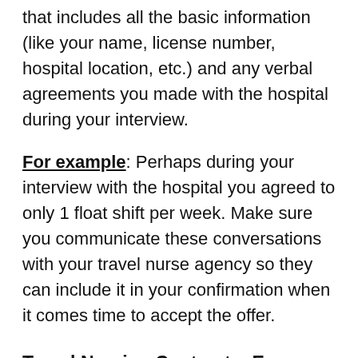that includes all the basic information (like your name, license number, hospital location, etc.) and any verbal agreements you made with the hospital during your interview.
For example: Perhaps during your interview with the hospital you agreed to only 1 float shift per week. Make sure you communicate these conversations with your travel nurse agency so they can include it in your confirmation when it comes time to accept the offer.
Travel Nursing Contracts: Every Contract Should Include....
Now this will vary a little of course, as not every travel nurse agency does it exactly the same – but